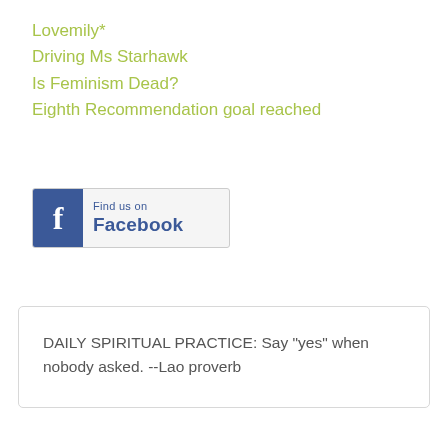Lovemily*
Driving Ms Starhawk
Is Feminism Dead?
Eighth Recommendation goal reached
[Figure (logo): Find us on Facebook button with blue Facebook logo icon on the left and text 'Find us on Facebook' on the right]
DAILY SPIRITUAL PRACTICE: Say "yes" when nobody asked. --Lao proverb